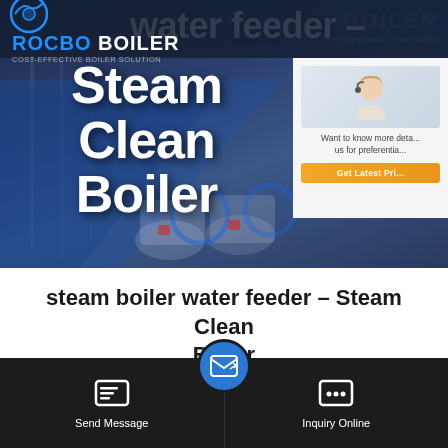[Figure (screenshot): Website screenshot of Rocbo Boiler product page showing steam boiler equipment against industrial background with blue tones. Logo in top left, popup card with customer service rep on right.]
steam boiler water feeder - Steam Clean Boiler
[Figure (screenshot): Bottom navigation bar with WhatsApp sticker banner, Send Message button, email circle button, and Inquiry Online button on dark background.]